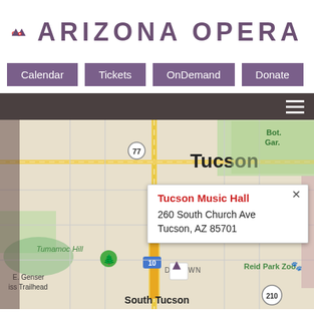[Figure (logo): Arizona Opera logo: red circle with triangle shape and purple triangle, with text ARIZONA OPERA in purple letters]
Calendar
Tickets
OnDemand
Donate
[Figure (map): Google Maps screenshot showing Tucson, AZ with a popup for Tucson Music Hall at 260 South Church Ave, Tucson, AZ 85701. Map shows Tumamoc Hill, The University of Arizona, SAM HUGHES, Reid Park Zoo, South Tucson, E. Genser iss Trailhead, and route markers including 77, 10, and 210.]